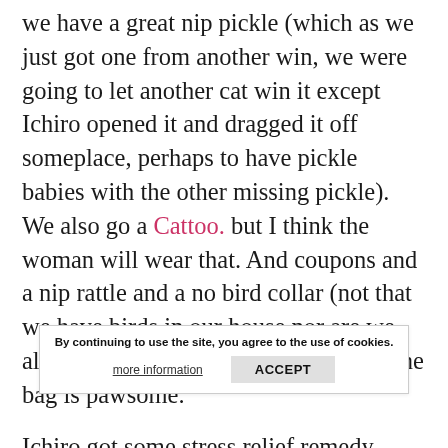we have a great nip pickle (which as we just got one from another win, we were going to let another cat win it except Ichiro opened it and dragged it off someplace, perhaps to have pickle babies with the other missing pickle).  We also go a Cattoo. but I think the woman will wear that. And coupons and a nip rattle and a no bird collar (not that we have birds in our house nor are we allowed out).  And the Woman thinks the bag is pawsome.
Ichiro got some stress relief remedy.  There's a cool bookmark from Zee and Zoev and from Sparkle!  And Gemmi is sitting over a long gift from Jan is that has a cat that looks a little like Ping on the
By continuing to use the site, you agree to the use of cookies. more information ACCEPT